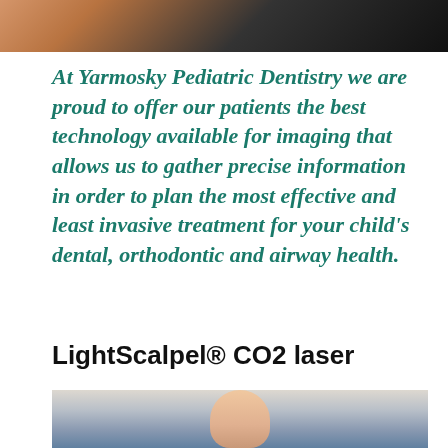[Figure (photo): Top portion of a dental/medical photo showing warm toned image, partially cropped]
At Yarmosky Pediatric Dentistry we are proud to offer our patients the best technology available for imaging that allows us to gather precise information in order to plan the most effective and least invasive treatment for your child's dental, orthodontic and airway health.
LightScalpel® CO2 laser
[Figure (photo): Photo of a young woman patient in a dental chair with dental equipment visible in the background]